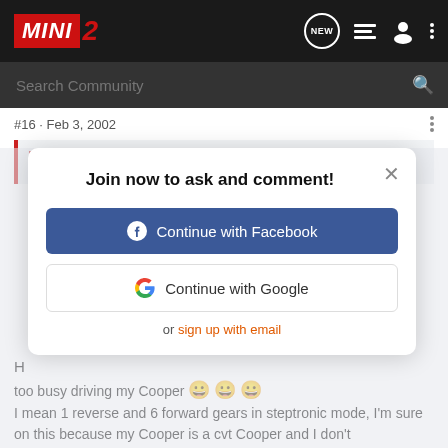[Figure (screenshot): MINI2 community forum website header with logo, search bar, and navigation icons]
#16 · Feb 3, 2002
Basil said:
Join now to ask and comment!
Continue with Facebook
Continue with Google
or sign up with email
H
too busy driving my Cooper 😀 😀 😀
I mean 1 reverse and 6 forward gears in steptronic mode, I'm sure on this because my Cooper is a cvt Cooper and I don't